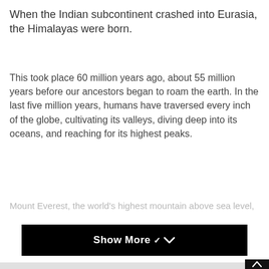When the Indian subcontinent crashed into Eurasia, the Himalayas were born.
This took place 60 million years ago, about 55 million years before our ancestors began to roam the earth. In the last five million years, humans have traversed every inch of the globe, cultivating its valleys, diving deep into its oceans, and reaching for its highest peaks.
Mount Everest, the world's highest mountain above sea level,
[Figure (other): Black 'Show More' button with chevron arrow]
[Figure (other): Social sharing bar with Facebook, Twitter, WhatsApp, and Telegram icons at the bottom of the page]